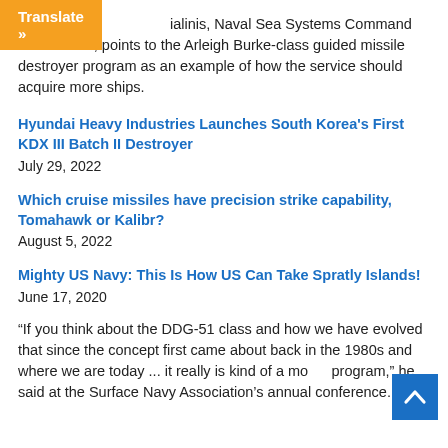[Figure (other): Orange 'Translate »' button in top-left corner]
Galinis, Naval Sea Systems Command commander, points to the Arleigh Burke-class guided missile destroyer program as an example of how the service should acquire more ships.
Hyundai Heavy Industries Launches South Korea's First KDX III Batch II Destroyer
July 29, 2022
Which cruise missiles have precision strike capability, Tomahawk or Kalibr?
August 5, 2022
Mighty US Navy: This Is How US Can Take Spratly Islands!
June 17, 2020
“If you think about the DDG-51 class and how we have evolved that since the concept first came about back in the 1980s and where we are today ... it really is kind of a model program,” he said at the Surface Navy Association’s annual conference.